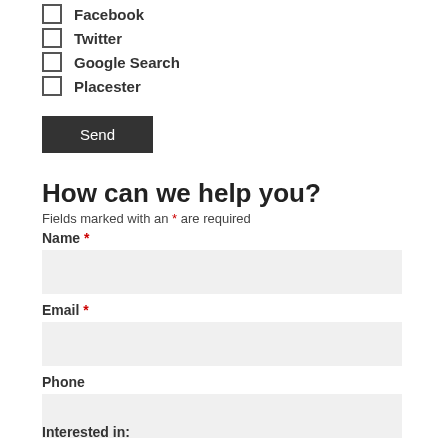Facebook
Twitter
Google Search
Placester
Send
How can we help you?
Fields marked with an * are required
Name *
Email *
Phone
Interested in: